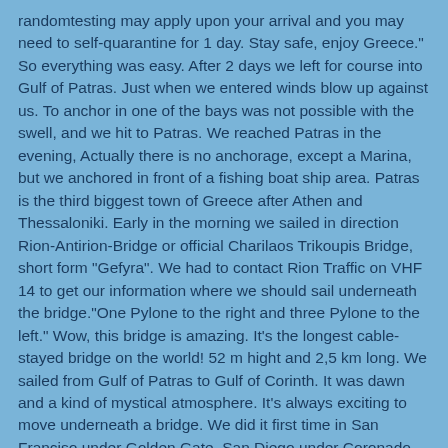randomtesting may apply upon your arrival and you may need to self-quarantine for 1 day. Stay safe, enjoy Greece." So everything was easy. After 2 days we left for course into Gulf of Patras. Just when we entered winds blow up against us. To anchor in one of the bays was not possible with the swell, and we hit to Patras. We reached Patras in the evening, Actually there is no anchorage, except a Marina, but we anchored in front of a fishing boat ship area. Patras is the third biggest town of Greece after Athen and Thessaloniki. Early in the morning we sailed in direction Rion-Antirion-Bridge or official Charilaos Trikoupis Bridge, short form "Gefyra". We had to contact Rion Traffic on VHF 14 to get our information where we should sail underneath the bridge."One Pylone to the right and three Pylone to the left." Wow, this bridge is amazing. It's the longest cable-stayed bridge on the world! 52 m hight and 2,5 km long. We sailed from Gulf of Patras to Gulf of Corinth. It was dawn and a kind of mystical atmosphere. It's always exciting to move underneath a bridge. We did it first time in San Franciso under Golden Gate, San Diego under Coronado Bridge, Malaysian under Second Link Expy, Sydney under Harbor Bridge, Miami under MC Arthur Causeway and some more. It was only a stone throw to Nafpaktos. We were